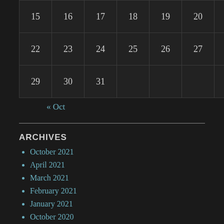| 15 | 16 | 17 | 18 | 19 | 20 | 21 |
| 22 | 23 | 24 | 25 | 26 | 27 | 28 |
| 29 | 30 | 31 |  |  |  |  |
« Oct
ARCHIVES
October 2021
April 2021
March 2021
February 2021
January 2021
October 2020